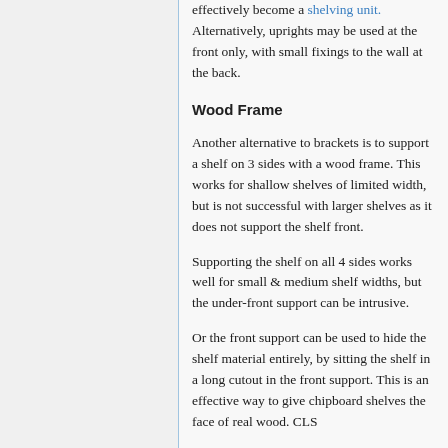effectively become a shelving unit. Alternatively, uprights may be used at the front only, with small fixings to the wall at the back.
Wood Frame
Another alternative to brackets is to support a shelf on 3 sides with a wood frame. This works for shallow shelves of limited width, but is not successful with larger shelves as it does not support the shelf front.
Supporting the shelf on all 4 sides works well for small & medium shelf widths, but the under-front support can be intrusive.
Or the front support can be used to hide the shelf material entirely, by sitting the shelf in a long cutout in the front support. This is an effective way to give chipboard shelves the face of real wood. CLS